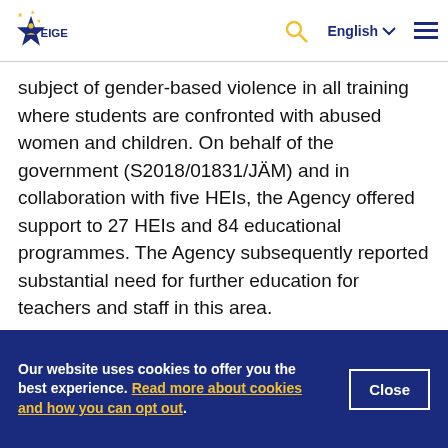EIGE logo | Search | English | Menu
subject of gender-based violence in all training where students are confronted with abused women and children. On behalf of the government (S2018/01831/JÄM) and in collaboration with five HEIs, the Agency offered support to 27 HEIs and 84 educational programmes. The Agency subsequently reported substantial need for further education for teachers and staff in this area.

When assessing funding, processes and efforts to
Our website uses cookies to offer you the best experience. Read more about cookies and how you can opt out.